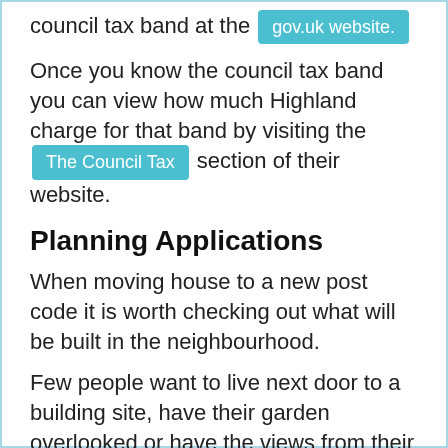council tax band at the [gov.uk website.] Once you know the council tax band you can view how much Highland charge for that band by visiting the [The Council Tax] section of their website.
Planning Applications
When moving house to a new post code it is worth checking out what will be built in the neighbourhood.
Few people want to live next door to a building site, have their garden overlooked or have the views from their property ruined.
Visit the [local planning department] and search